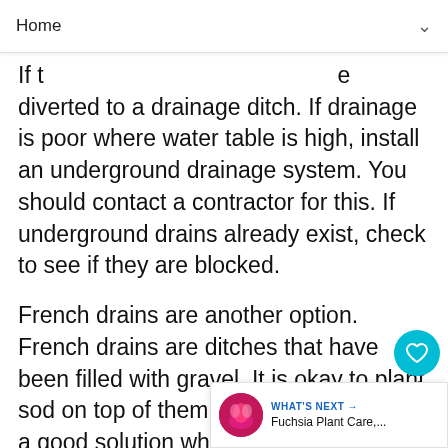Home
If t…e diverted to a drainage ditch. If drainage is poor where water table is high, install an underground drainage system. You should contact a contractor for this. If underground drains already exist, check to see if they are blocked.
French drains are another option. French drains are ditches that have been filled with gravel. It is okay to plant sod on top of them. More obtrusive, but a good solution where looks aren't as important, think of the French drain as a ditch filled with gravel. Ditches should be 3 to 4 feet deep and have… sides.